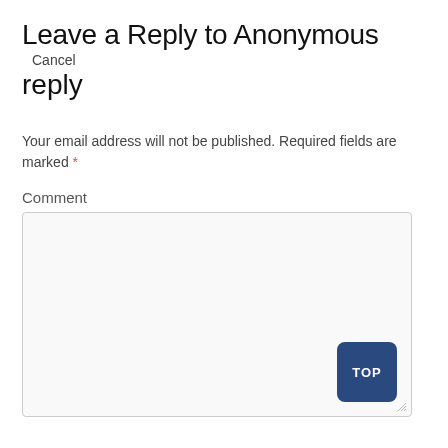Leave a Reply to Anonymous Cancel reply
Your email address will not be published. Required fields are marked *
Comment
[Figure (screenshot): A large empty comment textarea input box with a 'TOP' button in the bottom-right corner and a resize handle]